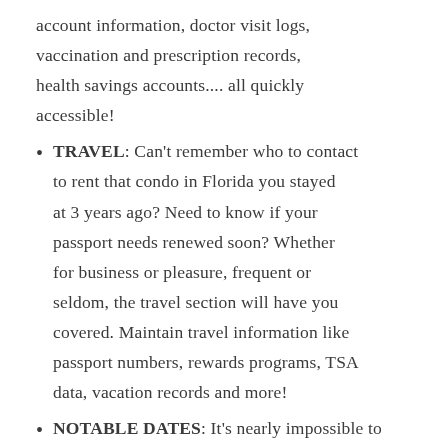account information, doctor visit logs, vaccination and prescription records, health savings accounts.... all quickly accessible!
TRAVEL: Can't remember who to contact to rent that condo in Florida you stayed at 3 years ago? Need to know if your passport needs renewed soon? Whether for business or pleasure, frequent or seldom, the travel section will have you covered. Maintain travel information like passport numbers, rewards programs, TSA data, vacation records and more!
NOTABLE DATES: It's nearly impossible to remember when to get all those birthday